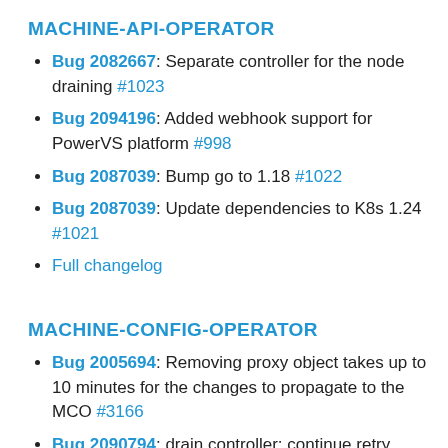MACHINE-API-OPERATOR
Bug 2082667: Separate controller for the node draining #1023
Bug 2094196: Added webhook support for PowerVS platform #998
Bug 2087039: Bump go to 1.18 #1022
Bug 2087039: Update dependencies to K8s 1.24 #1021
Full changelog
MACHINE-CONFIG-OPERATOR
Bug 2005694: Removing proxy object takes up to 10 minutes for the changes to propagate to the MCO #3166
Bug 2090794: drain controller: continue retry after 1h timeout #3167
Bug 2090300: Fixes of URL for AWS gitfilter...